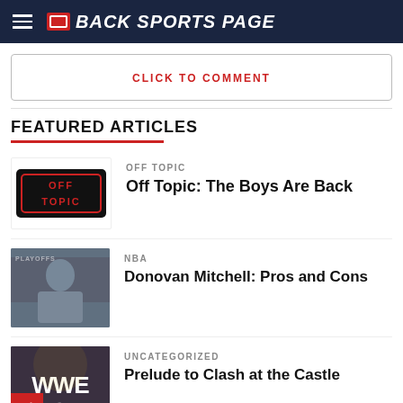BACK SPORTS PAGE
CLICK TO COMMENT
FEATURED ARTICLES
OFF TOPIC
Off Topic: The Boys Are Back
NBA
Donovan Mitchell: Pros and Cons
UNCATEGORIZED
Prelude to Clash at the Castle